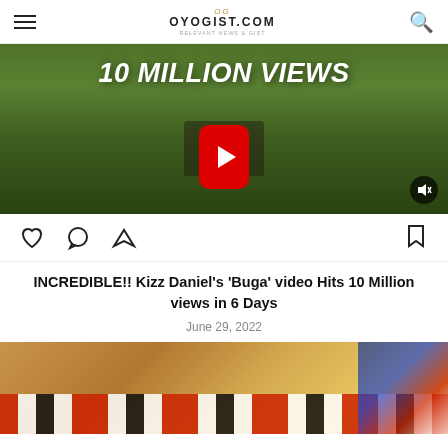OYOGIST.COM
[Figure (screenshot): Video thumbnail showing '10 MILLION VIEWS' text over a green field background with a YouTube play button and mute icon]
[Figure (screenshot): Instagram-style action bar with heart, comment, share, and bookmark icons]
INCREDIBLE!! Kizz Daniel's 'Buga' video Hits 10 Million views in 6 Days
June 29, 2022
[Figure (photo): Partial photo showing a person wearing a striped red, white and black headband/hat with colorful background]